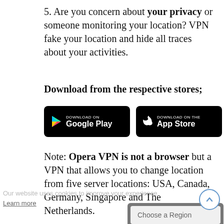5. Are you concern about your privacy or someone monitoring your location? VPN fake your location and hide all traces about your activities.
Download from the respective stores;
[Figure (other): Google Play and App Store download badges side by side on black backgrounds]
Note: Opera VPN is not a browser but a VPN that allows you to change location from five server locations: USA, Canada, Germany, Singapore and The Netherlands.
Our website uses cookies to improve your experience.
Learn more
[Figure (other): Choose a Region modal dialog overlay at bottom of page]